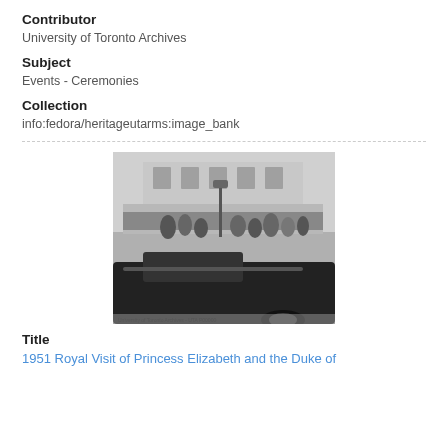Contributor
University of Toronto Archives
Subject
Events - Ceremonies
Collection
info:fedora/heritageutarms:image_bank
[Figure (photo): Black and white photograph of a royal visit scene. A large dark convertible car is in the foreground. People dressed in formal attire are gathered near a stone building in the background. A street lamp is visible.]
Title
1951 Royal Visit of Princess Elizabeth and the Duke of